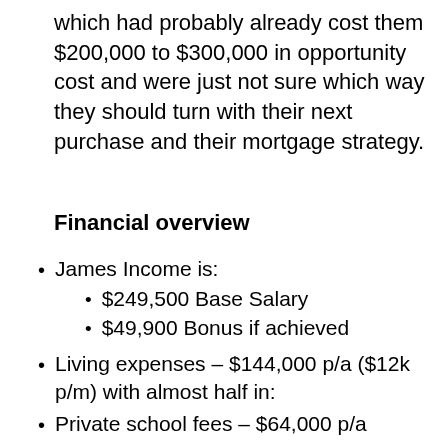which had probably already cost them $200,000 to $300,000 in opportunity cost and were just not sure which way they should turn with their next purchase and their mortgage strategy.
Financial overview
James Income is:
$249,500 Base Salary
$49,900 Bonus if achieved
Living expenses – $144,000 p/a ($12k p/m) with almost half in:
Private school fees – $64,000 p/a
Reducing to – $32,016 in 1.5